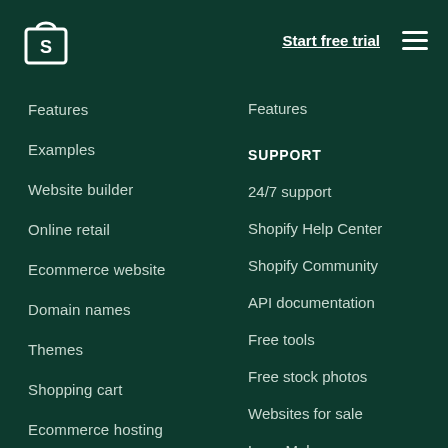[Figure (logo): Shopify bag logo in white on dark green background]
Start free trial
Features
Examples
Website builder
Online retail
Ecommerce website
Domain names
Themes
Shopping cart
Ecommerce hosting
Mobile commerce
Ecommerce software
Online store builder
Features
SUPPORT
24/7 support
Shopify Help Center
Shopify Community
API documentation
Free tools
Free stock photos
Websites for sale
Logo Maker
Business name generator